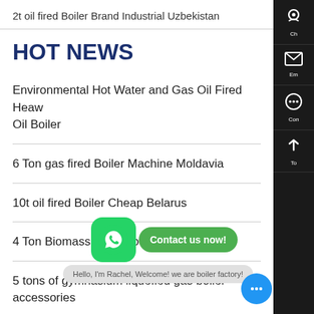2t oil fired Boiler Brand Industrial Uzbekistan
HOT NEWS
Environmental Hot Water and Gas Oil Fired Heavy Oil Boiler
6 Ton gas fired Boiler Machine Moldavia
10t oil fired Boiler Cheap Belarus
4 Ton Biomass Fired Boiler Current Price
5 tons of gymnasium liquefied gas boiler accessories
steam boiler price for hospital
[Figure (screenshot): WhatsApp contact popup with green button and 'Contact us now!' bubble, plus blue chat button and greeting message from Rachel]